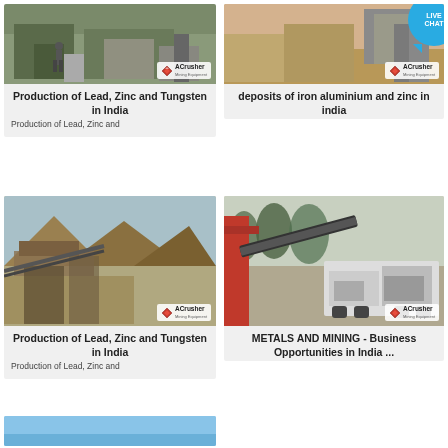[Figure (photo): Mining equipment site photo with ACrusher logo badge - top left card]
Production of Lead, Zinc and Tungsten in India
Production of Lead, Zinc and
[Figure (photo): Mining/quarry site photo with ACrusher logo badge - top right card]
deposits of iron aluminium and zinc in india
[Figure (photo): Mining equipment site photo with ACrusher logo badge - bottom left card]
Production of Lead, Zinc and Tungsten in India
Production of Lead, Zinc and
[Figure (photo): Mobile crushing plant photo with ACrusher logo badge - bottom right card]
METALS AND MINING - Business Opportunities in India ...
[Figure (photo): Partial blue card at bottom left]